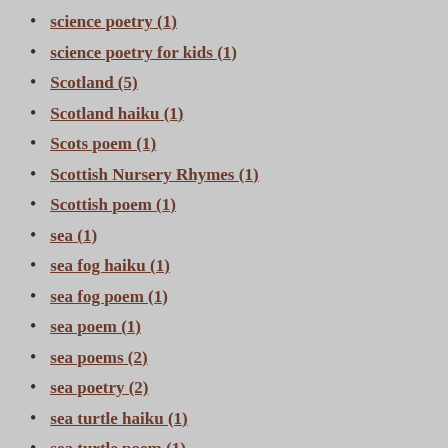science poetry (1)
science poetry for kids (1)
Scotland (5)
Scotland haiku (1)
Scots poem (1)
Scottish Nursery Rhymes (1)
Scottish poem (1)
sea (1)
sea fog haiku (1)
sea fog poem (1)
sea poem (1)
sea poems (2)
sea poetry (2)
sea turtle haiku (1)
sea turtle poem (1)
Seamus Heaney (1)